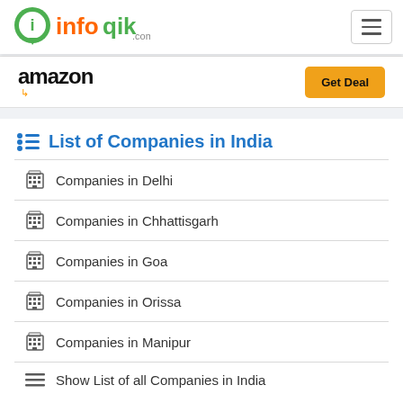infoqik.com
[Figure (screenshot): Amazon logo with orange arrow and Get Deal button]
List of Companies in India
Companies in Delhi
Companies in Chhattisgarh
Companies in Goa
Companies in Orissa
Companies in Manipur
Show List of all Companies in India